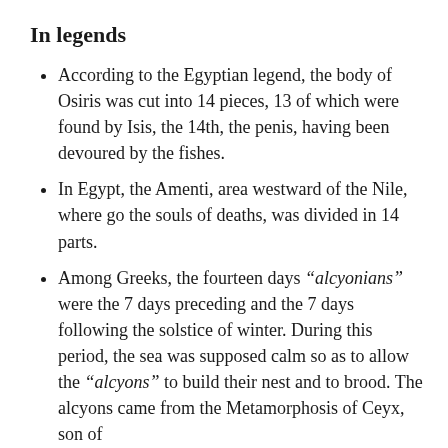In legends
According to the Egyptian legend, the body of Osiris was cut into 14 pieces, 13 of which were found by Isis, the 14th, the penis, having been devoured by the fishes.
In Egypt, the Amenti, area westward of the Nile, where go the souls of deaths, was divided in 14 parts.
Among Greeks, the fourteen days “alcyonians” were the 7 days preceding and the 7 days following the solstice of winter. During this period, the sea was supposed calm so as to allow the “alcyons” to build their nest and to brood. The alcyons came from the Metamorphosis of Ceyx, son of